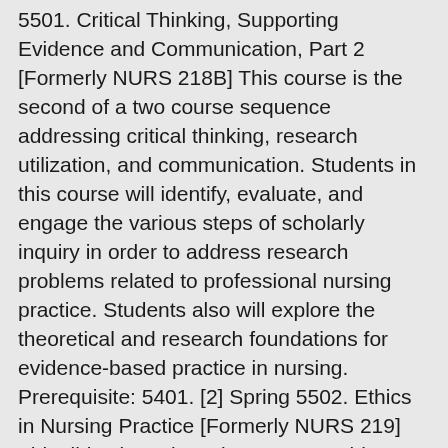5501. Critical Thinking, Supporting Evidence and Communication, Part 2 [Formerly NURS 218B] This course is the second of a two course sequence addressing critical thinking, research utilization, and communication. Students in this course will identify, evaluate, and engage the various steps of scholarly inquiry in order to address research problems related to professional nursing practice. Students also will explore the theoretical and research foundations for evidence-based practice in nursing. Prerequisite: 5401. [2] Spring 5502. Ethics in Nursing Practice [Formerly NURS 219] This didactic and seminar course addresses basic ethical principles and special problems/issues as sources for ethical reflection. Ethical dilemmas in health care are discussed using professional and analytical methods of investigation. Community Health Nursing Intervention Strategies Assignment Papers. Students are expected to reflect on their personal values and beliefs, ethical principles, clinical experiences, and